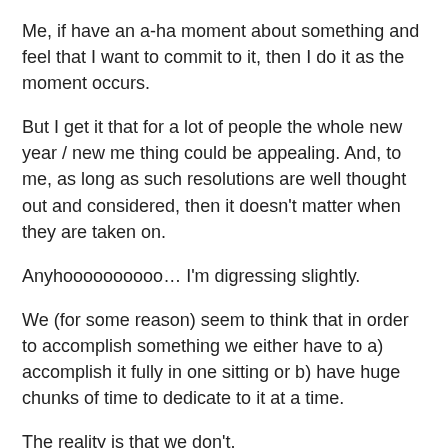Me, if have an a-ha moment about something and feel that I want to commit to it, then I do it as the moment occurs.
But I get it that for a lot of people the whole new year / new me thing could be appealing. And, to me, as long as such resolutions are well thought out and considered, then it doesn't matter when they are taken on.
Anyhoooooooooo… I'm digressing slightly.
We (for some reason) seem to think that in order to accomplish something we either have to a) accomplish it fully in one sitting or b) have huge chunks of time to dedicate to it at a time.
The reality is that we don't.
This isn't new news, but it's definitely something I/we need